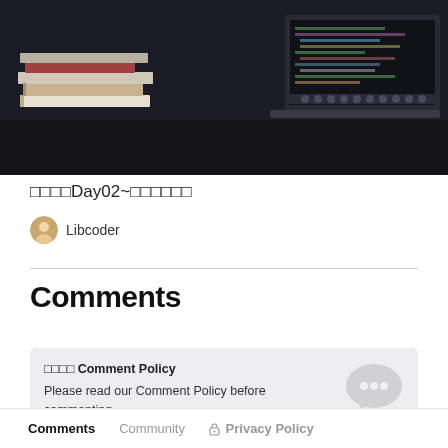[Figure (photo): Dark desk with stacked books on the left and an open laptop showing code on the right, dark background]
□□□□Day02~□□□□□□
Libcoder
Comments
□□□□ Comment Policy
Please read our Comment Policy before commenting.
Comments   Community   Privacy Policy